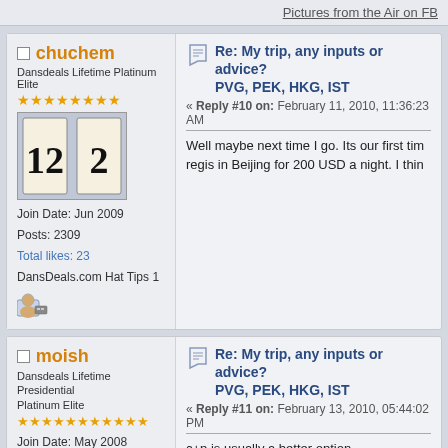Pictures from the Air on FB
chuchem
Dansdeals Lifetime Platinum Elite
Join Date: Jun 2009
Posts: 2309
Total likes: 23
DansDeals.com Hat Tips 1
Re: My trip, any inputs or advice? PVG, PEK, HKG, IST
« Reply #10 on: February 11, 2010, 11:36:23 AM
Well maybe next time I go. Its our first tim regis in Beijing for 200 USD a night. I thin
moish
Dansdeals Lifetime Presidential Platinum Elite
Join Date: May 2008
Posts: 9878
Total likes: 175
DansDeals.com Hat Tips 0
Re: My trip, any inputs or advice? PVG, PEK, HKG, IST
« Reply #11 on: February 13, 2010, 05:44:02 PM
c+p is usually a better option